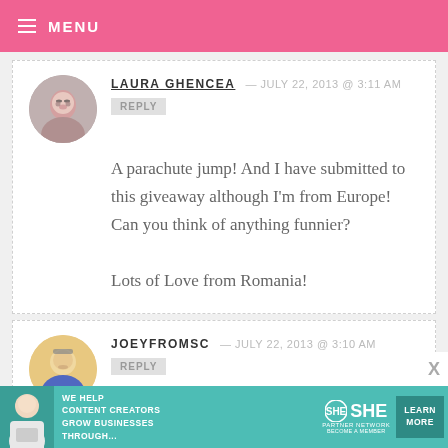MENU
LAURA GHENCEA — JULY 22, 2013 @ 3:11 AM
REPLY
A parachute jump! And I have submitted to this giveaway although I'm from Europe! Can you think of anything funnier?
Lots of Love from Romania!
JOEYFROMSC — JULY 22, 2013 @ 3:10 AM
REPLY
[Figure (infographic): SHE Media Partner Network advertisement banner: WE HELP CONTENT CREATORS GROW BUSINESSES THROUGH... with LEARN MORE button]